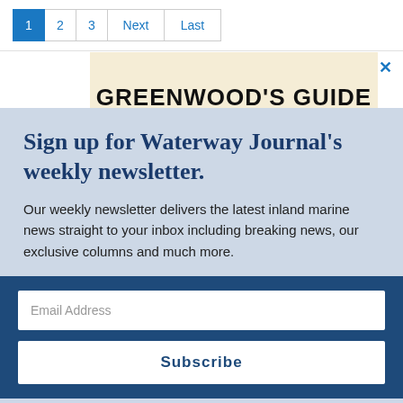1  2  3  Next  Last
[Figure (screenshot): Partially visible banner with 'GREENWOOD'S GUIDE' text on a cream/tan background]
Sign up for Waterway Journal's weekly newsletter.
Our weekly newsletter delivers the latest inland marine news straight to your inbox including breaking news, our exclusive columns and much more.
Email Address
Subscribe